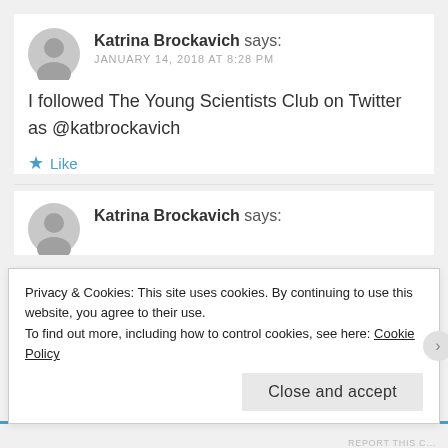Katrina Brockavich says:
JANUARY 14, 2018 AT 8:28 PM
I followed The Young Scientists Club on Twitter as @katbrockavich
★ Like
Katrina Brockavich says:
Privacy & Cookies: This site uses cookies. By continuing to use this website, you agree to their use.
To find out more, including how to control cookies, see here: Cookie Policy
Close and accept